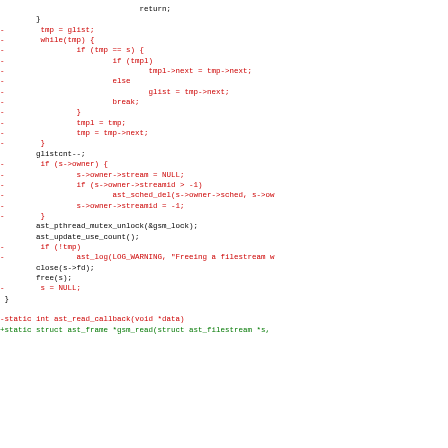Code diff showing removal of GSM stream list management and addition of ast_read_callback/gsm_read function signatures